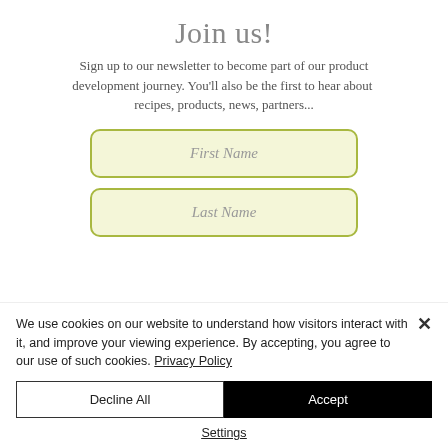Join us!
Sign up to our newsletter to become part of our product development journey. You'll also be the first to hear about recipes, products, news, partners...
First Name
Last Name
We use cookies on our website to understand how visitors interact with it, and improve your viewing experience. By accepting, you agree to our use of such cookies. Privacy Policy
Decline All
Accept
Settings